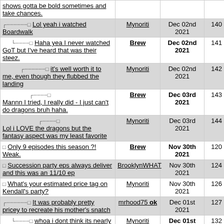| Message | User | Date | # |
| --- | --- | --- | --- |
| shows gotta be bold sometimes and take chances. |  |  |  |
| [reply] Lol yeah i watched Boardwalk | Mynoriti | Dec 02nd 2021 | 140 |
| [reply] Haha yea I never watched GoT but I've heard that was their steez. | Brew | Dec 02nd 2021 | 141 |
| [reply] it's well worth it to me, even though they flubbed the landing | Mynoriti | Dec 02nd 2021 | 142 |
| [reply] Mannn I tried, I really did - I just can't do dragons bruh haha. | Brew | Dec 03rd 2021 | 143 |
| [reply] Lol i LOVE the dragons but the fantasy aspect was my least favorite | Mynoriti | Dec 03rd 2021 | 144 |
| Only 9 episodes this season ?! Weak. | Brew | Nov 30th 2021 | 120 |
| Succession party eps always deliver and this was an 11/10 ep | BrooklynWHAT | Nov 30th 2021 | 124 |
| What's your estimated price tag on Kendall's party? | Mynoriti | Nov 30th 2021 | 126 |
| [reply] It was probably pretty pricey to recreate his mother's snatch | mrhood75 ok | Dec 01st 2021 | 127 |
| [reply] whoa i dont think its nearly *that* much | Mynoriti | Dec 01st 2021 | 132 |